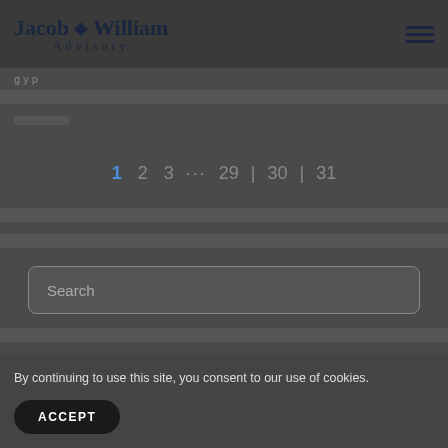[Figure (logo): Jacob William Advisory logo with diamond symbol between Jacob and William, centered in dark header bar]
...
1  2  3  ...  29  30  31
Search
By continuing to use this site, you consent to our use of cookies.
ACCEPT